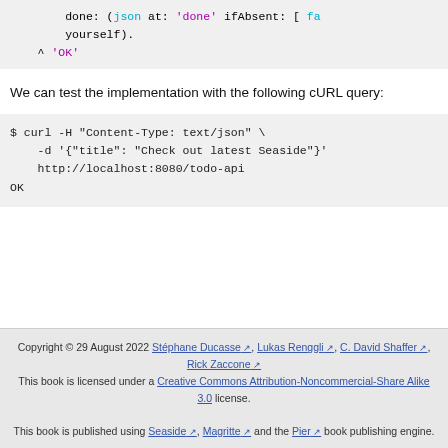[Figure (screenshot): Code block showing Smalltalk-like code: done: (json at: 'done' ifAbsent: [ fa... yourself). ^ 'OK']
We can test the implementation with the following cURL query:
[Figure (screenshot): Code block: $ curl -H "Content-Type: text/json" \ -d '{"title": "Check out latest Seaside"}' http://localhost:8080/todo-api OK]
Copyright © 29 August 2022 Stéphane Ducasse, Lukas Renggli, C. David Shaffer, Rick Zaccone. This book is licensed under a Creative Commons Attribution-Noncommercial-Share Alike 3.0 license. This book is published using Seaside, Magritte and the Pier book publishing engine.